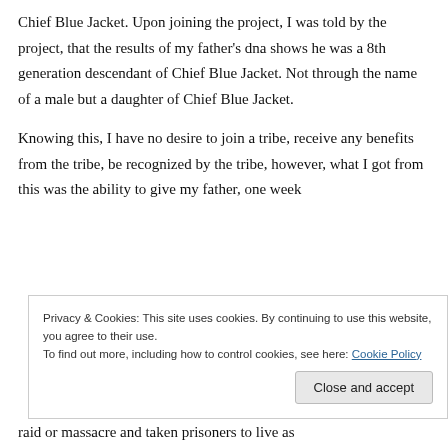Chief Blue Jacket. Upon joining the project, I was told by the project, that the results of my father's dna shows he was a 8th generation descendant of Chief Blue Jacket. Not through the name of a male but a daughter of Chief Blue Jacket.
Knowing this, I have no desire to join a tribe, receive any benefits from the tribe, be recognized by the tribe, however, what I got from this was the ability to give my father, one week
Privacy & Cookies: This site uses cookies. By continuing to use this website, you agree to their use.
To find out more, including how to control cookies, see here: Cookie Policy
Close and accept
raid or massacre and taken prisoners to live as